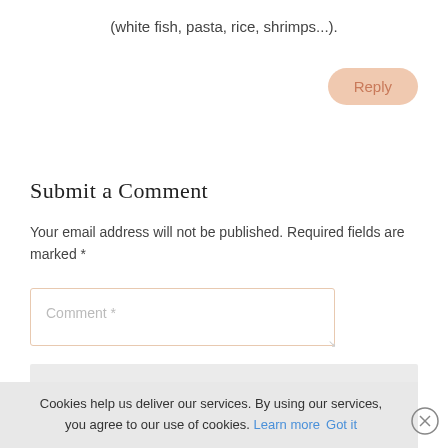(white fish, pasta, rice, shrimps...).
[Figure (other): Reply button — peach/salmon colored rounded pill button with text 'Reply']
Submit a Comment
Your email address will not be published. Required fields are marked *
[Figure (other): Comment text input field with placeholder 'Comment *' and orange border]
[Figure (other): Name input field with placeholder 'Name *' and light gray background]
[Figure (other): Email input field with placeholder 'Email *' and light gray background]
Cookies help us deliver our services. By using our services, you agree to our use of cookies. Learn more  Got it